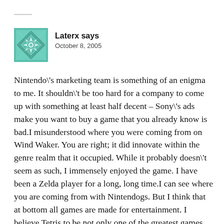[Figure (illustration): Teal/green quilted geometric pattern avatar icon, square with floral/star motif]
Laterx says
October 8, 2005
Nintendo\'s marketing team is something of an enigma to me. It shouldn\'t be too hard for a company to come up with something at least half decent – Sony\'s ads make you want to buy a game that you already know is bad.I misunderstood where you were coming from on Wind Waker. You are right; it did innovate within the genre realm that it occupied. While it probably doesn\'t seem as such, I immensely enjoyed the game. I have been a Zelda player for a long, long time.I can see where you are coming from with Nintendogs. But I think that at bottom all games are made for entertainment. I believe Tetris to be not only one of the greatest games made, but one of the greatest examples of good game design. And it is a pure time